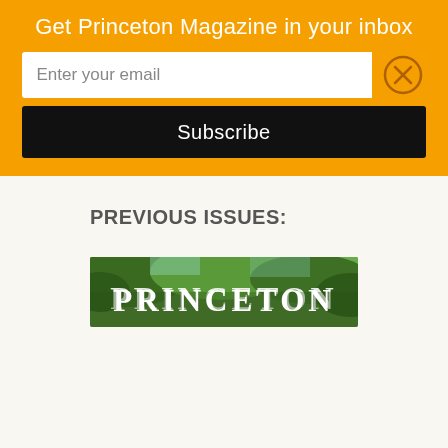Get Princeton Magazine in your inbox
Enter your email
Subscribe
PREVIOUS ISSUES:
[Figure (photo): Princeton Magazine cover image showing trees and the word PRINCETON in large serif letters with a green foliage background]